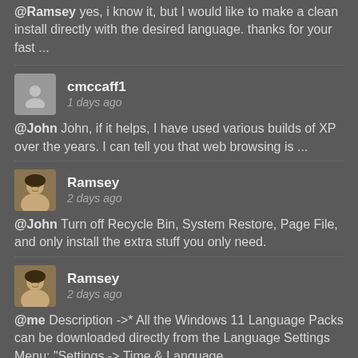@Ramsey yes, i know it, but I would like to make a clean install directly with the desired language. thanks for your fast ...
cmccaff1 — 1 days ago
@John John, if it helps, I have used various builds of XP over the years. I can tell you that web browsing is ...
Ramsey — 2 days ago
@John Turn off Recycle Bin, System Restore, Page File, and only install the extra stuff you only need.
Ramsey — 2 days ago
@me Description ->* All the Windows 11 Language Packs can be downloaded directly from the Language Settings Menu: "Settings -> Time & Language ...